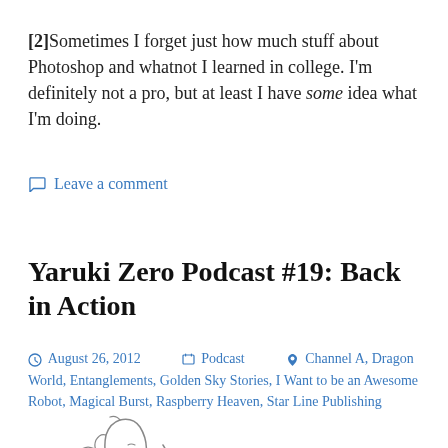[2]Sometimes I forget just how much stuff about Photoshop and whatnot I learned in college. I'm definitely not a pro, but at least I have some idea what I'm doing.
Leave a comment
Yaruki Zero Podcast #19: Back in Action
August 26, 2012   Podcast   Channel A, Dragon World, Entanglements, Golden Sky Stories, I Want to be an Awesome Robot, Magical Burst, Raspberry Heaven, Star Line Publishing
[Figure (illustration): Partial sketch illustration of a cartoon character at the bottom of the page]